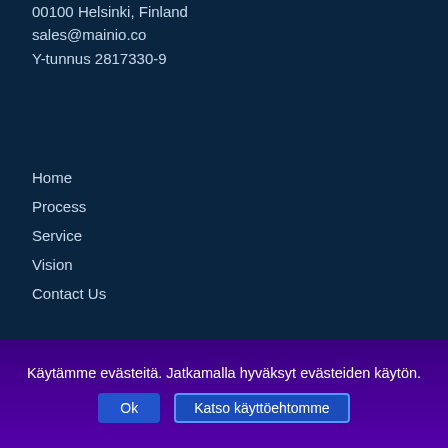00100 Helsinki, Finland
sales@mainio.co
Y-tunnus 2817330-9
Home
Process
Service
Vision
Contact Us
Käytämme evästeitä. Jatkamalla hyväksyt evästeiden käytön.
Ok
Katso käyttöehtomme